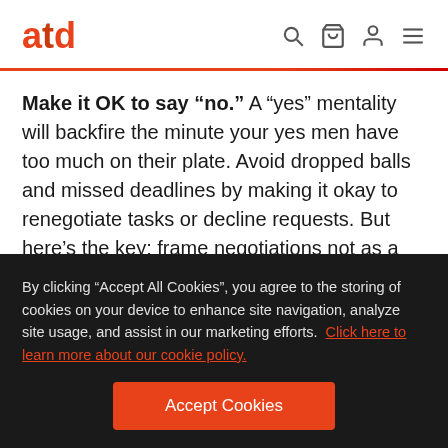atd
Make it OK to say “no.” A “yes” mentality will backfire the minute your yes men have too much on their plate. Avoid dropped balls and missed deadlines by making it okay to renegotiate tasks or decline requests. But here’s the key: frame negotiations not as a complainer craving less but as a contributor craving focus. Instead of “No, I
By clicking “Accept All Cookies”, you agree to the storing of cookies on your device to enhance site navigation, analyze site usage, and assist in our marketing efforts. Click here to learn more about our cookie policy.
Accept Cookies